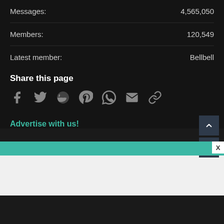Messages: 4,565,050
Members: 120,549
Latest member: Bellbell
Share this page
[Figure (infographic): Social share icons: Facebook, Twitter, Reddit, Pinterest, WhatsApp, Email, Link]
Advertise with us!
[Figure (infographic): Up and down navigation arrow buttons]
X